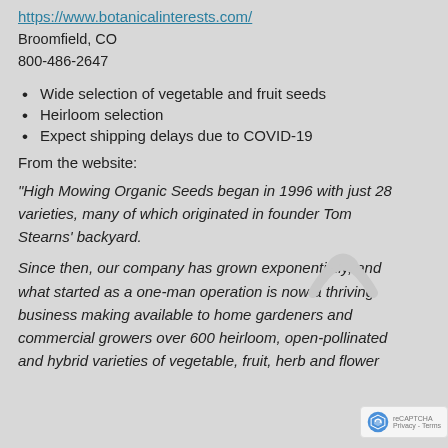https://www.botanicalinterests.com/
Broomfield, CO
800-486-2647
Wide selection of vegetable and fruit seeds
Heirloom selection
Expect shipping delays due to COVID-19
From the website:
[Figure (other): WiFi/signal arc icon in light gray]
"High Mowing Organic Seeds began in 1996 with just 28 varieties, many of which originated in founder Tom Stearns' backyard.
Since then, our company has grown exponentially, and what started as a one-man operation is now a thriving business making available to home gardeners and commercial growers over 600 heirloom, open-pollinated and hybrid varieties of vegetable, fruit, herb and flower